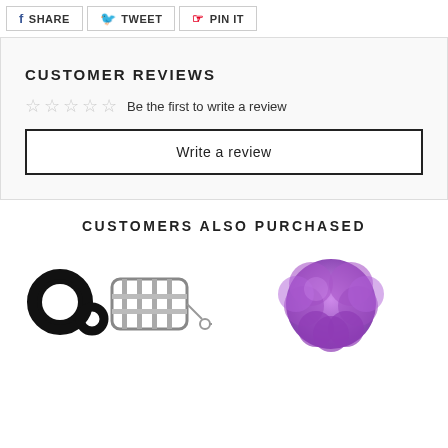[Figure (other): Social share buttons: SHARE (Facebook), TWEET (Twitter), PIN IT (Pinterest)]
CUSTOMER REVIEWS
[Figure (other): Five empty star rating icons followed by text 'Be the first to write a review']
Write a review
CUSTOMERS ALSO PURCHASED
[Figure (photo): Black handcuffs with metal chastity cage device]
[Figure (photo): Purple fluffy pom-pom ball]